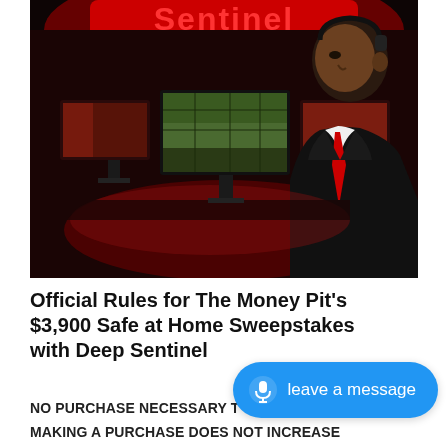[Figure (photo): A man wearing a headset, dressed in a dark suit with a red tie, sits in front of multiple monitors in a dark red-lit control room. The word 'Sentinel' appears in red letters at the top of the image on a curved sign.]
Official Rules for The Money Pit's $3,900 Safe at Home Sweepstakes with Deep Sentinel
NO PURCHASE NECESSARY T...
MAKING A PURCHASE DOES NOT INCREASE